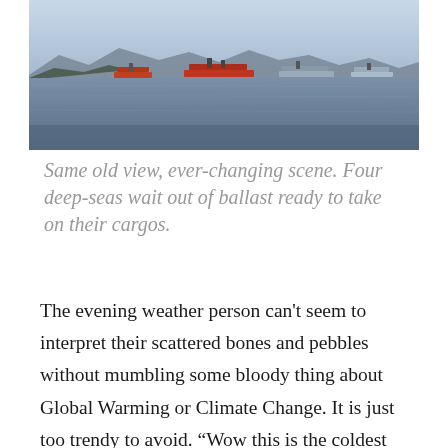[Figure (photo): Coastal seascape with mountains in the background, calm water in the foreground, and four large cargo/tanker ships anchored in the bay at dusk or early morning with a pale sky.]
Same old view, ever-changing scene. Four deep-seas wait out of ballast ready to take on their cargos.
The evening weather person can't seem to interpret their scattered bones and pebbles without mumbling some bloody thing about Global Warming or Climate Change. It is just too trendy to avoid. “Wow this is the coldest moment on record….since 1941.” Yes, it is occurring. No we are not helping matters and need to stop talking about it and simply do our best in our